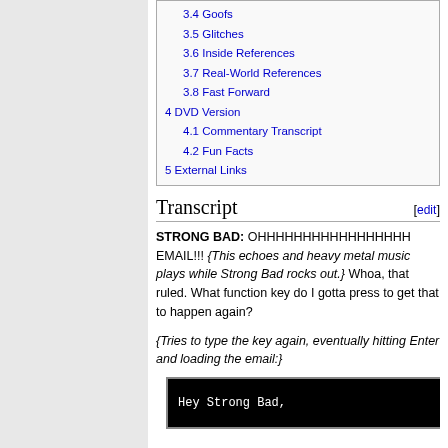3.4 Goofs
3.5 Glitches
3.6 Inside References
3.7 Real-World References
3.8 Fast Forward
4 DVD Version
4.1 Commentary Transcript
4.2 Fun Facts
5 External Links
Transcript
STRONG BAD: OHHHHHHHHHHHHHHHHH EMAIL!!! {This echoes and heavy metal music plays while Strong Bad rocks out.} Whoa, that ruled. What function key do I gotta press to get that to happen again?
{Tries to type the key again, eventually hitting Enter and loading the email:}
Hey Strong Bad,